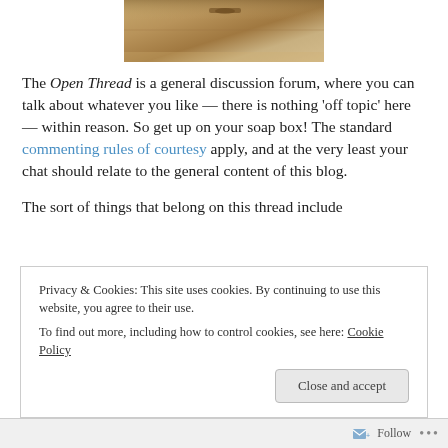[Figure (photo): Partial photo of a wooden box or furniture piece on a light background, cropped at top]
The Open Thread is a general discussion forum, where you can talk about whatever you like — there is nothing 'off topic' here — within reason. So get up on your soap box! The standard commenting rules of courtesy apply, and at the very least your chat should relate to the general content of this blog.
The sort of things that belong on this thread include
Privacy & Cookies: This site uses cookies. By continuing to use this website, you agree to their use.
To find out more, including how to control cookies, see here: Cookie Policy
Follow ...